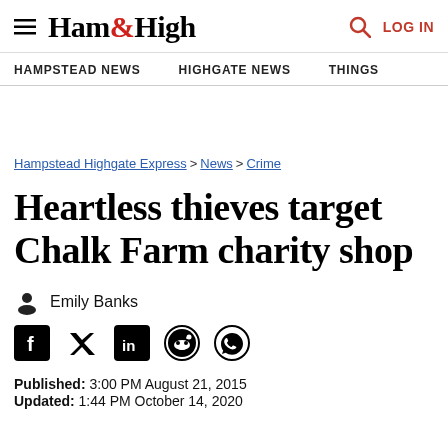Ham&High | HAMPSTEAD NEWS | HIGHGATE NEWS | THINGS | LOG IN
Hampstead Highgate Express > News > Crime
Heartless thieves target Chalk Farm charity shop
Emily Banks
Published: 3:00 PM August 21, 2015
Updated: 1:44 PM October 14, 2020